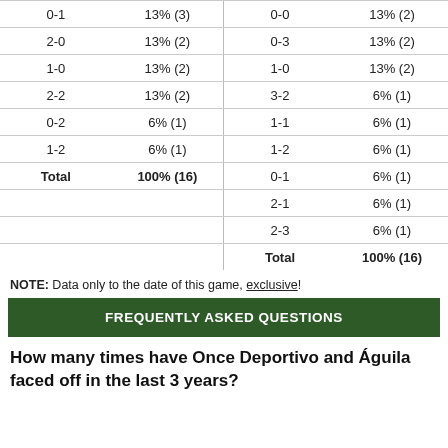| Score | % | Score | % |
| --- | --- | --- | --- |
| 0-1 | 13% (3) | 0-0 | 13% (2) |
| 2-0 | 13% (2) | 0-3 | 13% (2) |
| 1-0 | 13% (2) | 1-0 | 13% (2) |
| 2-2 | 13% (2) | 3-2 | 6% (1) |
| 0-2 | 6% (1) | 1-1 | 6% (1) |
| 1-2 | 6% (1) | 1-2 | 6% (1) |
| Total | 100% (16) | 0-1 | 6% (1) |
|  |  | 2-1 | 6% (1) |
|  |  | 2-3 | 6% (1) |
|  |  | Total | 100% (16) |
NOTE: Data only to the date of this game, exclusive!
FREQUENTLY ASKED QUESTIONS
How many times have Once Deportivo and Águila faced off in the last 3 years?